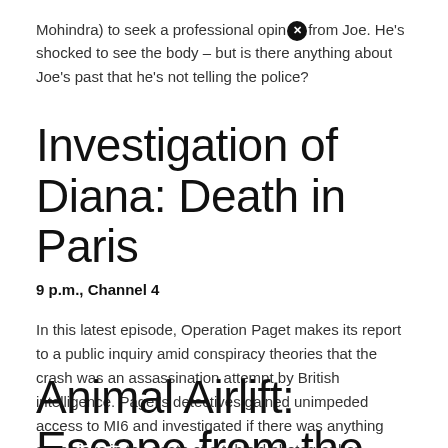Mohindra) to seek a professional opin[icon] from Joe. He's shocked to see the body – but is there anything about Joe's past that he's not telling the police?
Investigation of Diana: Death in Paris
9 p.m., Channel 4
In this latest episode, Operation Paget makes its report to a public inquiry amid conspiracy theories that the crash was an assassination attempt by British intelligence. Paget's detectives gained unimpeded access to MI6 and investigated if there was anything suspicious in the death of a tabloid photographer.
Animal Airlift: Escape from the Taliban [icon]